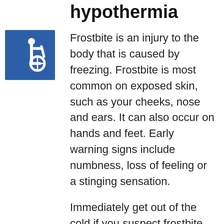hypothermia
[Figure (illustration): Accessibility wheelchair icon — white symbol on blue square background]
Frostbite is an injury to the body that is caused by freezing. Frostbite is most common on exposed skin, such as your cheeks, nose and ears. It can also occur on hands and feet. Early warning signs include numbness, loss of feeling or a stinging sensation.
Immediately get out of the cold if you suspect frostbite. Slowly warm the affected area — but don't rub it since that can damage your skin. Seek emergency care if numbness doesn't